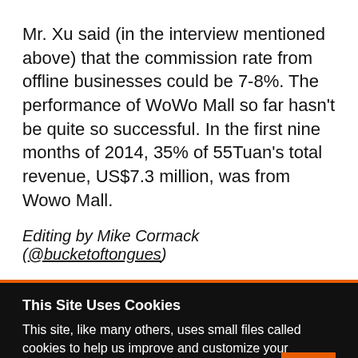Mr. Xu said (in the interview mentioned above) that the commission rate from offline businesses could be 7-8%. The performance of WoWo Mall so far hasn't be quite so successful. In the first nine months of 2014, 35% of 55Tuan's total revenue, US$7.3 million, was from Wowo Mall.
Editing by Mike Cormack (@bucketoftongues)
This Site Uses Cookies
This site, like many others, uses small files called cookies to help us improve and customize your experience. Learn more about how we use cookies in our cookie policy.